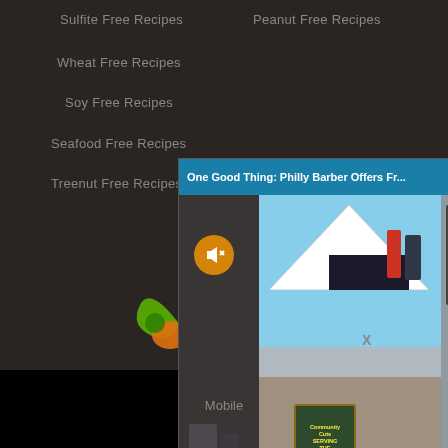Sulfite Free Recipes
Peanut Free Recipes
Wheat Free Recipes
Soy Free Recipes
Seafood Free Recipes
Treenut Free Recipes
[Figure (screenshot): Video popup overlay titled 'One Good Thing: Philly Barber Offers Fr...' with a muted video playing showing people near a tent with a sign reading 'Community Cuts Serving the People'. A green and orange partial logo is visible in the background.]
X
Mobile